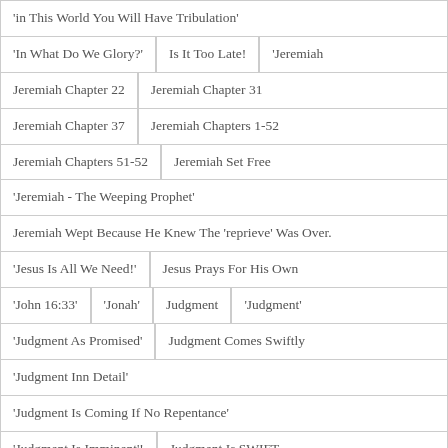'in This World You Will Have Tribulation'
'In What Do We Glory?'
Is It Too Late!
'Jeremiah
Jeremiah Chapter 22
Jeremiah Chapter 31
Jeremiah Chapter 37
Jeremiah Chapters 1-52
Jeremiah Chapters 51-52
Jeremiah Set Free
'Jeremiah - The Weeping Prophet'
Jeremiah Wept Because He Knew The 'reprieve' Was Over.
'Jesus Is All We Need!'
Jesus Prays For His Own
'John 16:33'
'Jonah'
Judgment
'Judgment'
'Judgment As Promised'
Judgment Comes Swiftly
'Judgment Inn Detail'
'Judgment Is Coming If No Repentance'
'Judgment Is Imminent'!
Judgment Is SWIFT
Judgment Of God
'Judgment Of The Nations'